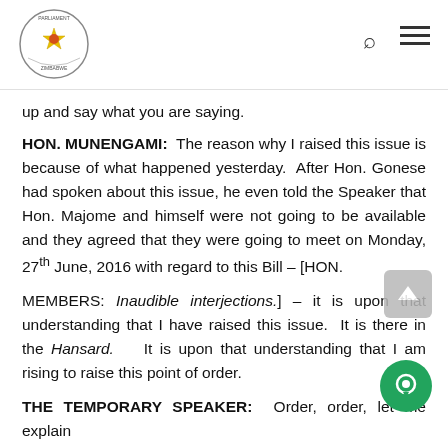Parliament of Zimbabwe
up and say what you are saying.
HON. MUNENGAMI: The reason why I raised this issue is because of what happened yesterday. After Hon. Gonese had spoken about this issue, he even told the Speaker that Hon. Majome and himself were not going to be available and they agreed that they were going to meet on Monday, 27th June, 2016 with regard to this Bill – [HON.
MEMBERS: Inaudible interjections.] – it is upon that understanding that I have raised this issue. It is there in the Hansard. It is upon that understanding that I am rising to raise this point of order.
THE TEMPORARY SPEAKER: Order, order, let me explain